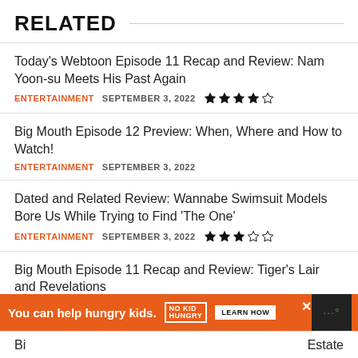RELATED
Today’s Webtoon Episode 11 Recap and Review: Nam Yoon-su Meets His Past Again
Big Mouth Episode 12 Preview: When, Where and How to Watch!
Dated and Related Review: Wannabe Swimsuit Models Bore Us While Trying to Find ‘The One’
Big Mouth Episode 11 Recap and Review: Tiger’s Lair and Revelations